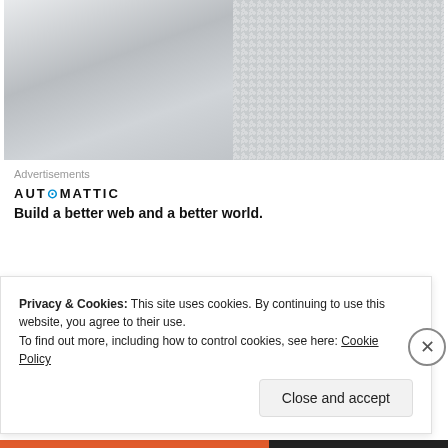[Figure (photo): Close-up photograph of white textured fabric/shirt, showing detailed weave pattern. Left section shows a curved collar/seam area, right section shows the textured knit pattern.]
Advertisements
[Figure (logo): AUTOMATTIC logo with a blue circle replacing the O, followed by tagline 'Build a better web and a better world.']
I am so happy with this shirt, especially because I look at it and see such great strides in craftsmanship
Privacy & Cookies: This site uses cookies. By continuing to use this website, you agree to their use.
To find out more, including how to control cookies, see here: Cookie Policy
Close and accept